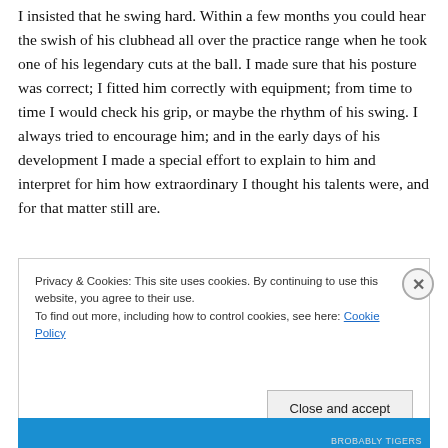I insisted that he swing hard. Within a few months you could hear the swish of his clubhead all over the practice range when he took one of his legendary cuts at the ball. I made sure that his posture was correct; I fitted him correctly with equipment; from time to time I would check his grip, or maybe the rhythm of his swing. I always tried to encourage him; and in the early days of his development I made a special effort to explain to him and interpret for him how extraordinary I thought his talents were, and for that matter still are.
Privacy & Cookies: This site uses cookies. By continuing to use this website, you agree to their use.
To find out more, including how to control cookies, see here: Cookie Policy
Close and accept